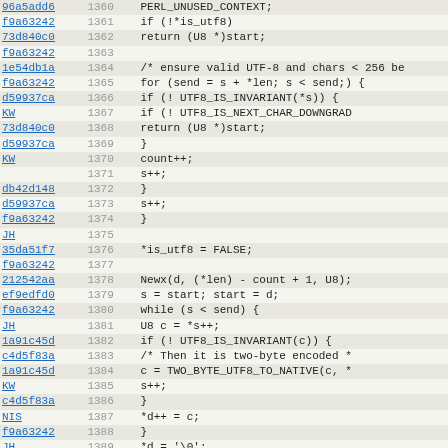[Figure (screenshot): Source code viewer showing C code lines 1360-1391 with commit hashes, line numbers, and code content. The code implements UTF-8 validation and conversion logic.]